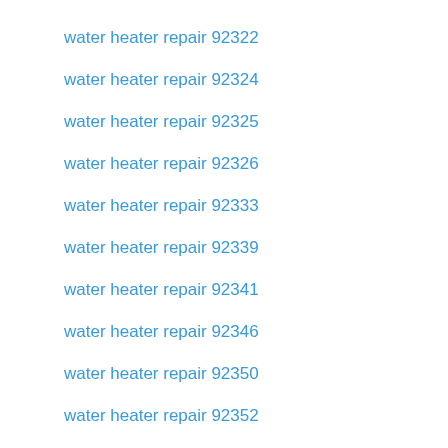water heater repair 92322
water heater repair 92324
water heater repair 92325
water heater repair 92326
water heater repair 92333
water heater repair 92339
water heater repair 92341
water heater repair 92346
water heater repair 92350
water heater repair 92352